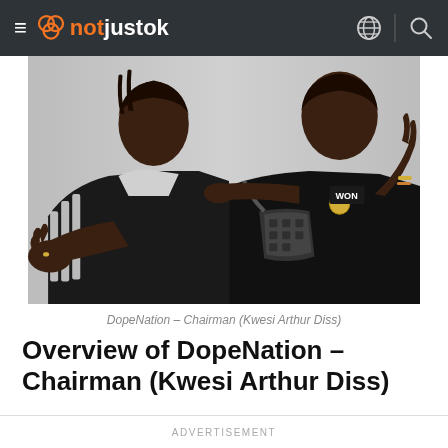notjustok
[Figure (photo): Two young men in black jackets posing together against a light background, one wearing a Adidas jacket with white stripes and the other wearing a crossbody bag and a cap labeled WON]
DopeNation – Chairman (Kwesi Arthur Diss)
Overview of DopeNation – Chairman (Kwesi Arthur Diss)
ADVERTISEMENT